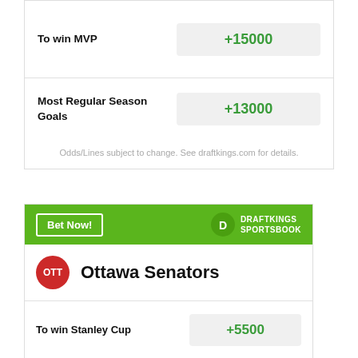| Bet | Odds |
| --- | --- |
| To win MVP | +15000 |
| Most Regular Season Goals | +13000 |
Odds/Lines subject to change. See draftkings.com for details.
[Figure (logo): DraftKings Sportsbook Bet Now banner]
Ottawa Senators
| Bet | Odds |
| --- | --- |
| To win Stanley Cup | +5500 |
| To win Eastern Conference | +2800 |